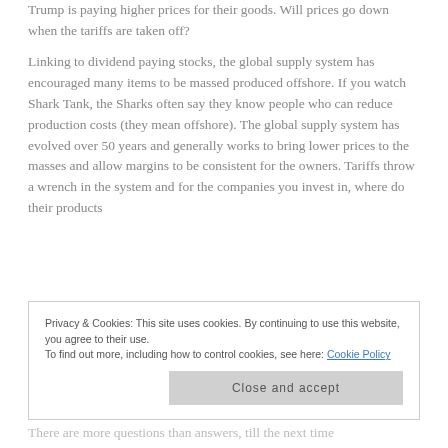Trump is paying higher prices for their goods. Will prices go down when the tariffs are taken off?
Linking to dividend paying stocks, the global supply system has encouraged many items to be massed produced offshore. If you watch Shark Tank, the Sharks often say they know people who can reduce production costs (they mean offshore). The global supply system has evolved over 50 years and generally works to bring lower prices to the masses and allow margins to be consistent for the owners. Tariffs throw a wrench in the system and for the companies you invest in, where do their products
Privacy & Cookies: This site uses cookies. By continuing to use this website, you agree to their use.
To find out more, including how to control cookies, see here: Cookie Policy
Close and accept
There are more questions than answers, till the next time